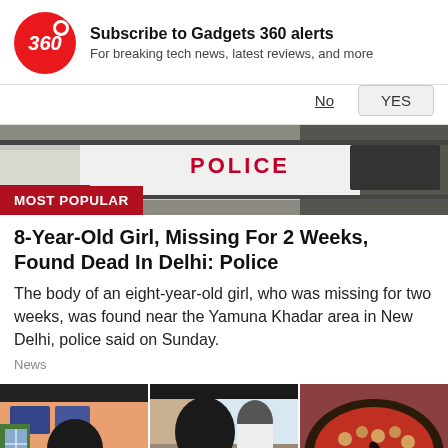[Figure (logo): Gadgets 360 red circular logo with '360' text]
Subscribe to Gadgets 360 alerts
For breaking tech news, latest reviews, and more
No   YES
[Figure (photo): Police vehicle with 'POLICE' text visible on side, partial view]
MOST POPULAR
8-Year-Old Girl, Missing For 2 Weeks, Found Dead In Delhi: Police
The body of an eight-year-old girl, who was missing for two weeks, was found near the Yamuna Khadar area in New Delhi, police said on Sunday.
News
[Figure (photo): Three panel image strip: left panel shows man in white t-shirt at food stall, middle panel shows man eating, right panel shows chickpea curry dish]